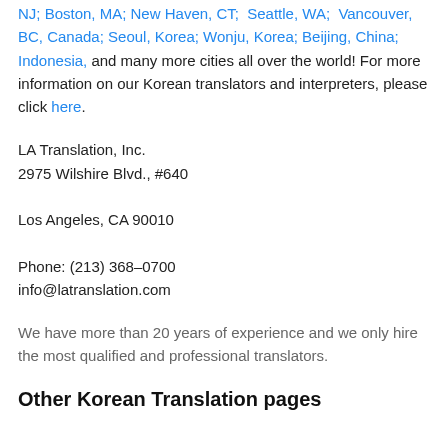NJ; Boston, MA; New Haven, CT; Seattle, WA; Vancouver, BC, Canada; Seoul, Korea; Wonju, Korea; Beijing, China; Indonesia, and many more cities all over the world! For more information on our Korean translators and interpreters, please click here.
LA Translation, Inc.
2975 Wilshire Blvd., #640

Los Angeles, CA 90010

Phone: (213) 368-0700
info@latranslation.com
We have more than 20 years of experience and we only hire the most qualified and professional translators.
Other Korean Translation pages